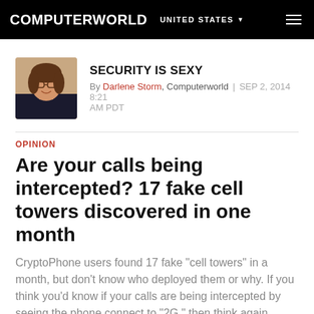COMPUTERWORLD  UNITED STATES
[Figure (photo): Author photo of Darlene Storm, a woman with brown hair and glasses, smiling]
SECURITY IS SEXY
By Darlene Storm, Computerworld | SEP 2, 2014 8:21 AM PDT
OPINION
Are your calls being intercepted? 17 fake cell towers discovered in one month
CryptoPhone users found 17 fake "cell towers" in a month, but don't know who deployed them or why. If you think you'd know if your calls are being intercepted by seeing the phone connect to "2G," then think again.
[Figure (infographic): Social sharing icons: Facebook, Twitter, LinkedIn, Reddit, Email, Print]